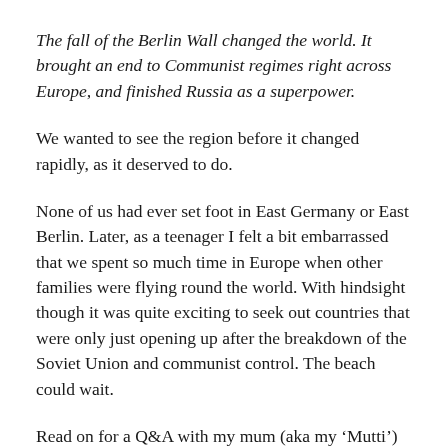The fall of the Berlin Wall changed the world. It brought an end to Communist regimes right across Europe, and finished Russia as a superpower.
We wanted to see the region before it changed rapidly, as it deserved to do.
None of us had ever set foot in East Germany or East Berlin. Later, as a teenager I felt a bit embarrassed that we spent so much time in Europe when other families were flying round the world. With hindsight though it was quite exciting to seek out countries that were only just opening up after the breakdown of the Soviet Union and communist control. The beach could wait.
Read on for a Q&A with my mum (aka my 'Mutti')